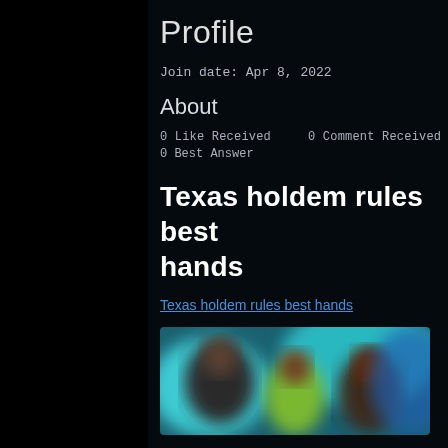Profile
Join date: Apr 8, 2022
About
0 Like Received    0 Comment Received
0 Best Answer
Texas holdem rules best hands
Texas holdem rules best hands
[Figure (photo): Blurred photo showing people with teal and yellow colors in background]